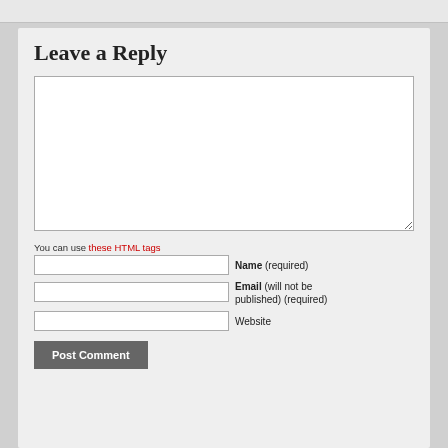Leave a Reply
You can use these HTML tags
Name (required)
Email (will not be published) (required)
Website
Post Comment